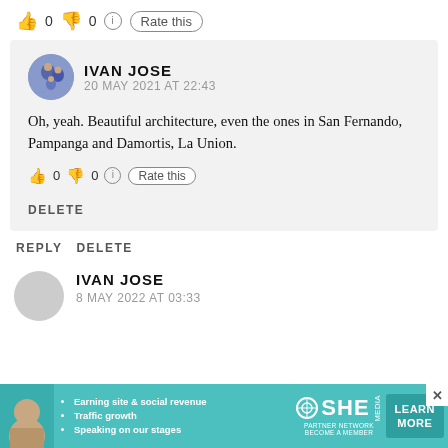[Figure (screenshot): Top rate bar with thumbs up emoji showing 0, thumbs down emoji showing 0, info icon, and 'Rate this' button]
[Figure (screenshot): Comment block with avatar of Ivan Jose family photo, commenter name IVAN JOSE, date 20 MAY 2021 AT 22:43, comment text about beautiful architecture, inner rate bar, and DELETE link]
REPLY DELETE
[Figure (screenshot): Second comment row with gray avatar circle, commenter name IVAN JOSE, date 8 MAY 2022 AT 03:33]
[Figure (screenshot): Ad banner for SHE Partner Network with woman photo, bullet points about earning site and social revenue, traffic growth, speaking on stages, SHE logo, and LEARN MORE button]